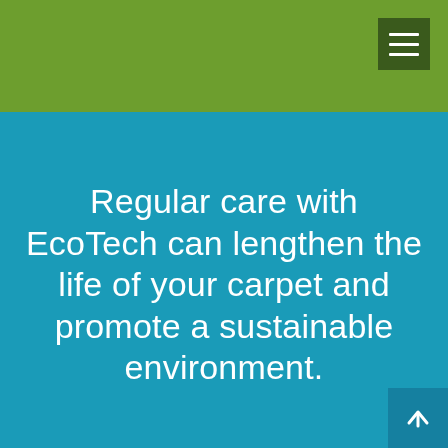[Figure (other): Green banner header with dark green hamburger menu button in top-right corner]
Regular care with EcoTech can lengthen the life of your carpet and promote a sustainable environment.